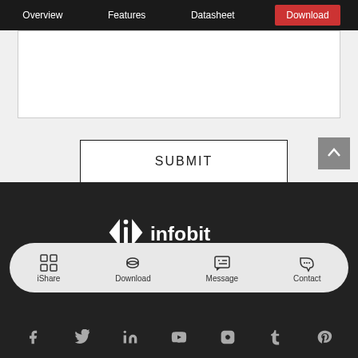Overview  Features  Datasheet  Download
[Figure (screenshot): White form input area / text box]
SUBMIT
[Figure (logo): Infobit logo: <i> chevron bracket symbol followed by 'infobit' text in white on dark background]
iShare  Download  Message  Contact
Social icons: Facebook, Twitter, LinkedIn, YouTube, Instagram, Tumblr, Pinterest